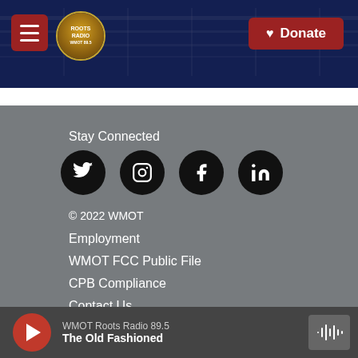[Figure (screenshot): Website header with Roots Radio logo, hamburger menu button, and red Donate button over a dark blue guitar background]
Stay Connected
[Figure (infographic): Four social media icons: Twitter, Instagram, Facebook, LinkedIn — white icons on black circles]
© 2022 WMOT
Employment
WMOT FCC Public File
CPB Compliance
Contact Us
WMOT Roots Radio 89.5 — The Old Fashioned